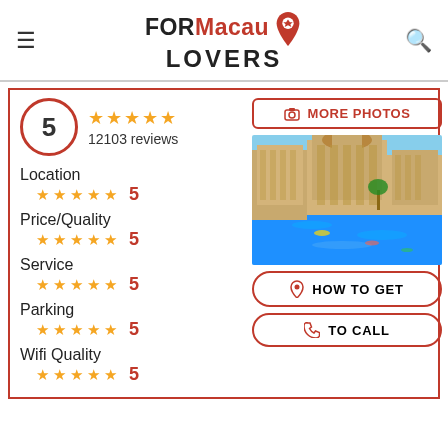FORMacau LOVERS
5  ★★★★★  12103 reviews
Location ★★★★★ 5
Price/Quality ★★★★★ 5
Service ★★★★★ 5
Parking ★★★★★ 5
Wifi Quality ★★★★★ 5
[Figure (photo): Hotel/resort exterior with a large pool and ornate golden building facade, blue sky]
MORE PHOTOS
HOW TO GET
TO CALL